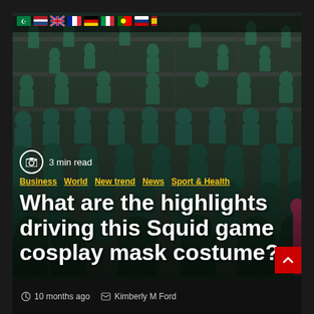[Figure (photo): Large group of people wearing matching green/teal tracksuits in a warehouse-like setting with metal scaffolding, referencing the Netflix show Squid Game. Crowd fills the entire frame from background to foreground.]
3 min read
Business World  New trend  News  Sport & Health
What are the highlights driving this Squid game cosplay mask costume?
10 months ago
Kimberly M Ford